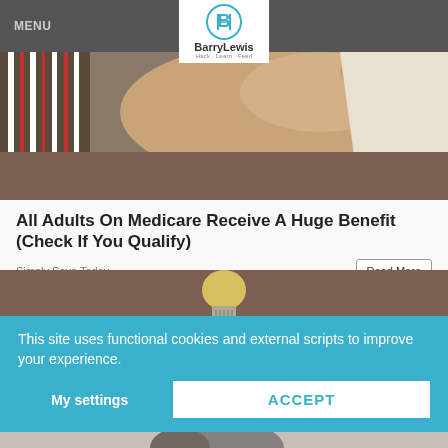MENU
[Figure (photo): Close-up photo of a hand touching fabric or clothing items]
All Adults On Medicare Receive A Huge Benefit (Check If You Qualify)
Simply Save Today
Read More
[Figure (photo): Photo of a light bulb on a brown background]
This site uses functional cookies and external scripts to improve your experience.
My settings
ACCEPT
[Figure (photo): Partial photo at bottom of page]